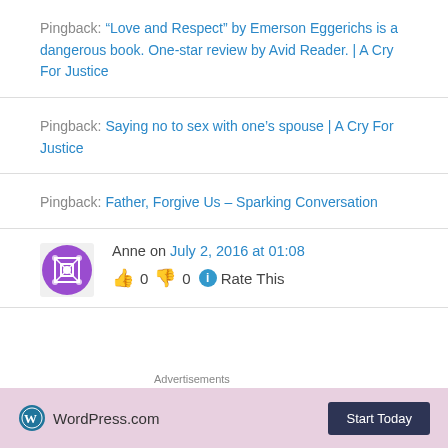Pingback: “Love and Respect” by Emerson Eggerichs is a dangerous book. One-star review by Avid Reader. | A Cry For Justice
Pingback: Saying no to sex with one’s spouse | A Cry For Justice
Pingback: Father, Forgive Us – Sparking Conversation
Anne on July 2, 2016 at 01:08
0  0  Rate This
Advertisements
[Figure (screenshot): WordPress.com advertisement banner with Start Today button]